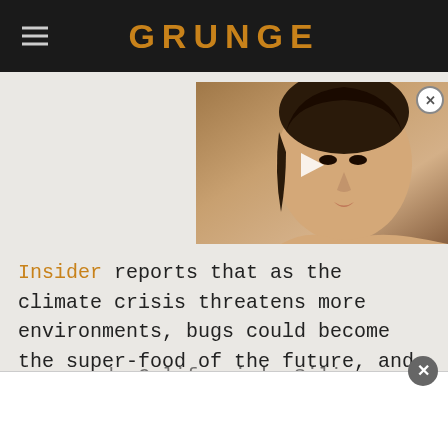GRUNGE
[Figure (photo): Video thumbnail showing a woman with short dark hair, with a play button overlay]
Insider reports that as the climate crisis threatens more environments, bugs could become the super-food of the future, and the good news is they're already FDA